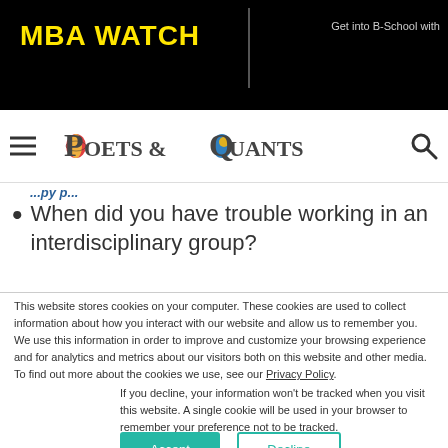MBA WATCH | Get into B-School with
[Figure (logo): Poets & Quants logo with hamburger menu and search icon]
...py p...
When did you have trouble working in an interdisciplinary group?
This website stores cookies on your computer. These cookies are used to collect information about how you interact with our website and allow us to remember you. We use this information in order to improve and customize your browsing experience and for analytics and metrics about our visitors both on this website and other media. To find out more about the cookies we use, see our Privacy Policy.
If you decline, your information won't be tracked when you visit this website. A single cookie will be used in your browser to remember your preference not to be tracked.